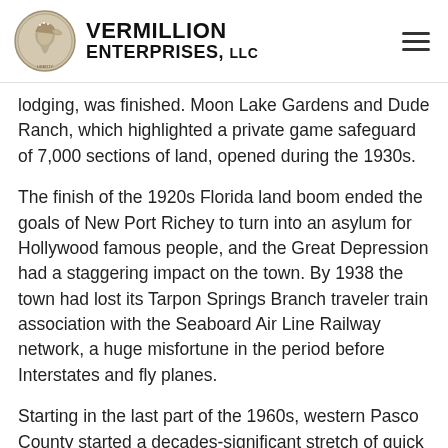VERMILLION ENTERPRISES, LLC
lodging, was finished. Moon Lake Gardens and Dude Ranch, which highlighted a private game safeguard of 7,000 sections of land, opened during the 1930s.
The finish of the 1920s Florida land boom ended the goals of New Port Richey to turn into an asylum for Hollywood famous people, and the Great Depression had a staggering impact on the town. By 1938 the town had lost its Tarpon Springs Branch traveler train association with the Seaboard Air Line Railway network, a huge misfortune in the period before Interstates and fly planes.
Starting in the last part of the 1960s, western Pasco County started a decades-significant stretch of quick populace development, albeit the number of inhabitants in New Port Richey has not expanded much on account of the little